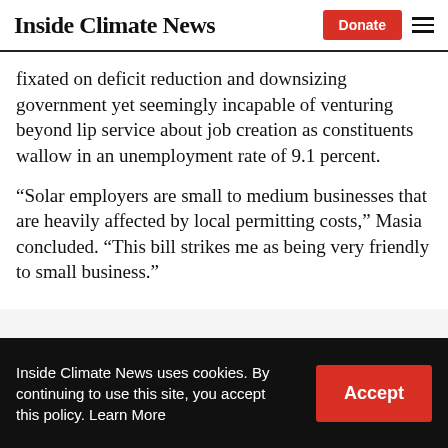Inside Climate News
fixated on deficit reduction and downsizing government yet seemingly incapable of venturing beyond lip service about job creation as constituents wallow in an unemployment rate of 9.1 percent.
“Solar employers are small to medium businesses that are heavily affected by local permitting costs,” Masia concluded. “This bill strikes me as being very friendly to small business.”
Inside Climate News uses cookies. By continuing to use this site, you accept this policy. Learn More